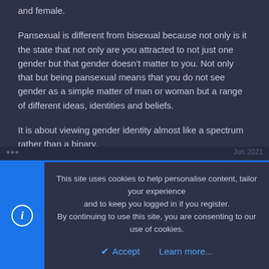and female.
Pansexual is different from bisexual because not only is it the state that not only are you attracted to not just one gender but that gender doesn't matter to you. Not only that but being pansexual means that you do not see gender as a simple matter of man or woman but a range of different ideas, identities and beliefs.
It is about viewing gender identity almost like a spectrum rather than a binary.
Michael Hirst
New member
This site uses cookies to help personalise content, tailor your experience and to keep you logged in if you register.
By continuing to use this site, you are consenting to our use of cookies.
Accept   Learn more...